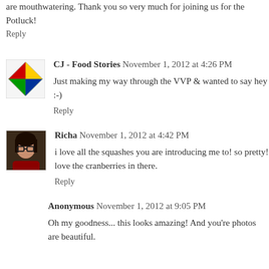are mouthwatering. Thank you so very much for joining us for the Potluck!
Reply
CJ - Food Stories  November 1, 2012 at 4:26 PM
Just making my way through the VVP & wanted to say hey :-)
Reply
Richa  November 1, 2012 at 4:42 PM
i love all the squashes you are introducing me to! so pretty! love the cranberries in there.
Reply
Anonymous  November 1, 2012 at 9:05 PM
Oh my goodness... this looks amazing! And you're photos are beautiful.